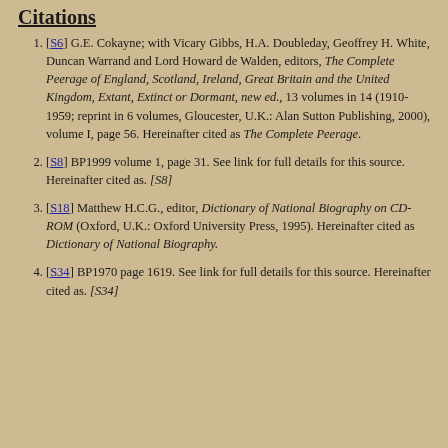Citations
[S6] G.E. Cokayne; with Vicary Gibbs, H.A. Doubleday, Geoffrey H. White, Duncan Warrand and Lord Howard de Walden, editors, The Complete Peerage of England, Scotland, Ireland, Great Britain and the United Kingdom, Extant, Extinct or Dormant, new ed., 13 volumes in 14 (1910-1959; reprint in 6 volumes, Gloucester, U.K.: Alan Sutton Publishing, 2000), volume I, page 56. Hereinafter cited as The Complete Peerage.
[S8] BP1999 volume 1, page 31. See link for full details for this source. Hereinafter cited as. [S8]
[S18] Matthew H.C.G., editor, Dictionary of National Biography on CD-ROM (Oxford, U.K.: Oxford University Press, 1995). Hereinafter cited as Dictionary of National Biography.
[S34] BP1970 page 1619. See link for full details for this source. Hereinafter cited as. [S34]